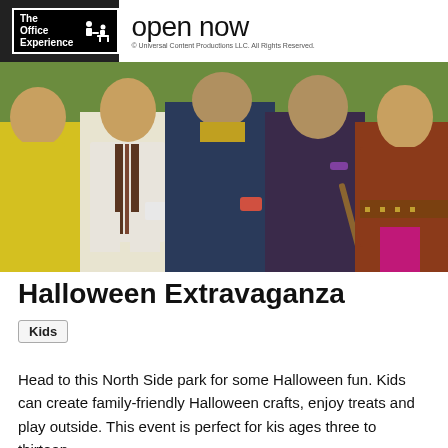The Office Experience | open now | © Universal Content Productions LLC. All Rights Reserved.
[Figure (photo): Group of people in Halloween costumes sitting together outdoors]
Halloween Extravaganza
Kids
Head to this North Side park for some Halloween fun. Kids can create family-friendly Halloween crafts, enjoy treats and play outside. This event is perfect for kis ages three to thirteen.